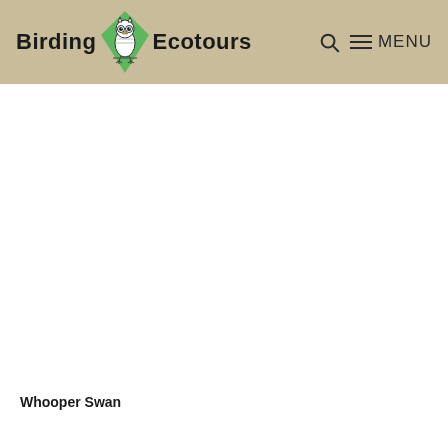Birding Ecotours — MENU
[Figure (photo): Large white area representing an image placeholder (photo of a Whooper Swan)]
Whooper Swan